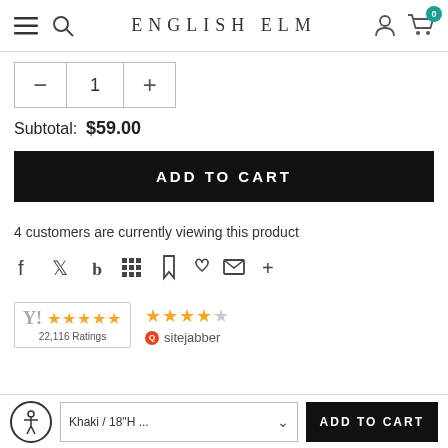ENGLISH ELM
Subtotal: $59.00
ADD TO CART
4 customers are currently viewing this product
[Figure (infographic): Social sharing icons row: Facebook, Twitter, Pinterest, grid/apps, bookmark, heart, email, plus]
[Figure (infographic): Yotpo rating badge showing 5 stars and 22,116 Ratings, plus Sitejabber rating showing 4.5 stars]
Khaki / 18"H ... ADD TO CART